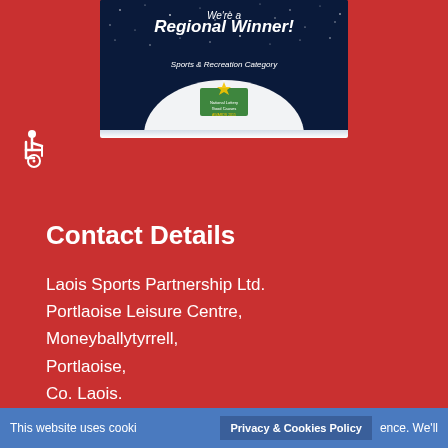[Figure (illustration): Award banner image showing 'We're a Regional Winner! Sports & Recreation Category' with a starry night sky background and a Good Causes Awards logo at the bottom]
[Figure (illustration): Wheelchair accessibility icon in white on red background]
Contact Details
Laois Sports Partnership Ltd.
Portlaoise Leisure Centre,
Moneyballytyrrell,
Portlaoise,
Co. Laois.
This website uses cooki… Privacy & Cookies Policy …ence. We'll